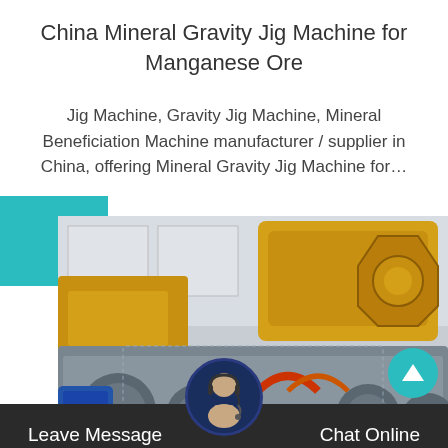China Mineral Gravity Jig Machine for Manganese Ore
Jig Machine, Gravity Jig Machine, Mineral Beneficiation Machine manufacturer / supplier in China, offering Mineral Gravity Jig Machine for…
[Figure (photo): Industrial mineral gravity jig machines and mining equipment in a factory setting, showing yellow heavy machinery and grey mechanical components.]
Leave Message
Chat Online